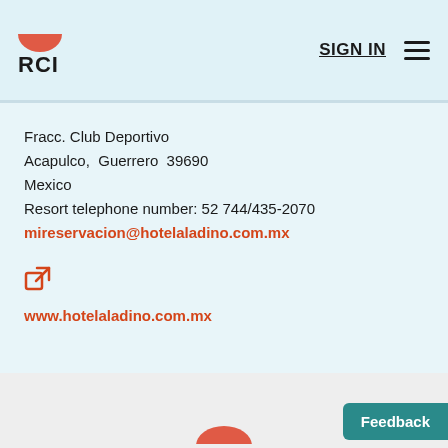[Figure (logo): RCI logo with pink/salmon bowl shape above bold text 'RCI']
SIGN IN
Fracc. Club Deportivo
Acapulco,  Guerrero  39690
Mexico
Resort telephone number: 52 744/435-2070
mireservacion@hotelaladino.com.mx
[Figure (illustration): External link icon (orange square with arrow)]
www.hotelaladino.com.mx
[Figure (logo): RCI logo at bottom of page, partial pink bowl shape visible]
Feedback